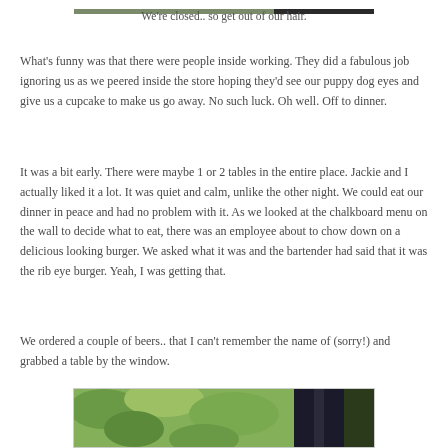[Figure (photo): Partial top edge of a photo visible at top of page]
We're closed.. so get out of our hair.
What's funny was that there were people inside working. They did a fabulous job ignoring us as we peered inside the store hoping they'd see our puppy dog eyes and give us a cupcake to make us go away. No such luck. Oh well. Off to dinner.
It was a bit early. There were maybe 1 or 2 tables in the entire place. Jackie and I actually liked it a lot. It was quiet and calm, unlike the other night. We could eat our dinner in peace and had no problem with it. As we looked at the chalkboard menu on the wall to decide what to eat, there was an employee about to chow down on a delicious looking burger. We asked what it was and the bartender had said that it was the rib eye burger. Yeah, I was getting that.
We ordered a couple of beers.. that I can't remember the name of (sorry!) and grabbed a table by the window.
[Figure (photo): Bottom portion of a photo showing green foliage and a dark vertical element, partially visible at bottom of page]